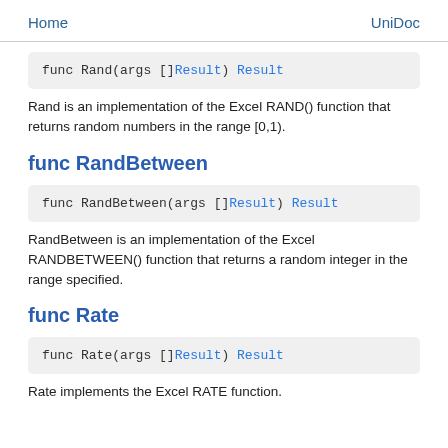Home    UniDoc
Rand is an implementation of the Excel RAND() function that returns random numbers in the range [0,1).
func RandBetween
RandBetween is an implementation of the Excel RANDBETWEEN() function that returns a random integer in the range specified.
func Rate
Rate implements the Excel RATE function.